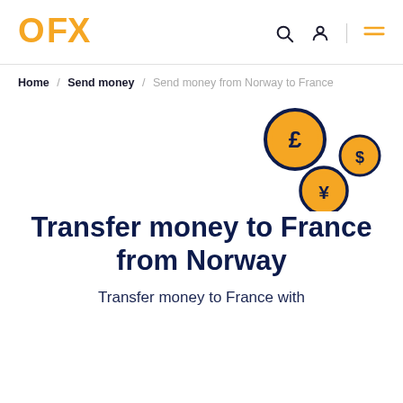OFX
Home / Send money / Send money from Norway to France
[Figure (illustration): Three currency coins: a large gold pound (£) coin with dark blue ring, a small gold dollar ($) coin with dark blue ring, and a medium gold yen (¥) coin with dark blue ring, floating in upper right area]
Transfer money to France from Norway
Transfer money to France with